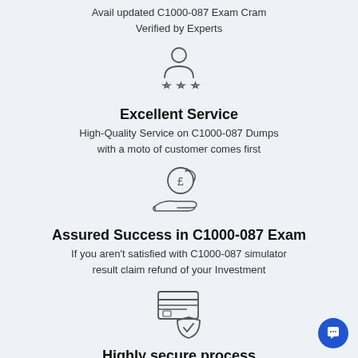Avail updated C1000-087 Exam Cram
Verified by Experts
[Figure (illustration): Person/user icon with three stars below, representing service rating]
Excellent Service
High-Quality Service on C1000-087 Dumps with a moto of customer comes first
[Figure (illustration): Hand receiving a coin with pound sign, representing money/refund]
Assured Success in C1000-087 Exam
If you aren't satisfied with C1000-087 simulator result claim refund of your Investment
[Figure (illustration): Credit card with a shield checkmark, representing secure payment process]
Highly secure process